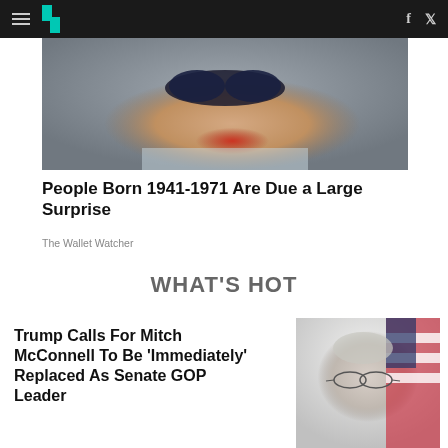HuffPost navigation bar with logo, hamburger menu, Facebook and Twitter icons
[Figure (photo): Close-up photo of an elderly woman wearing sunglasses with red lipstick, partially cropped]
People Born 1941-1971 Are Due a Large Surprise
The Wallet Watcher
WHAT'S HOT
Trump Calls For Mitch McConnell To Be 'Immediately' Replaced As Senate GOP Leader
[Figure (photo): Photo of Mitch McConnell wearing glasses, in front of an American flag]